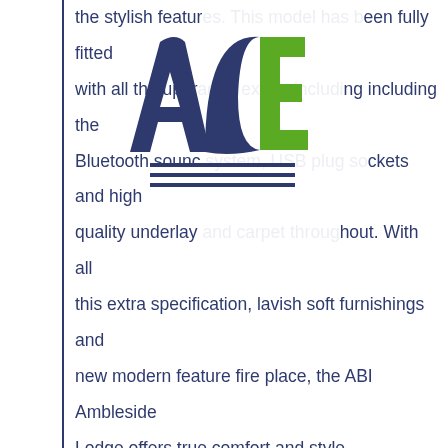[Figure (logo): ACE logo with stylized letters A, C, E in dark blue and green, with three horizontal lines beneath]
the stylish features. This model has been fully fitted with all the upgraded extras including the Bluetooth sound system, USB plug sockets and high quality underlay and carpet throughout. With all this extra specification, lavish soft furnishings and new modern feature fire place, the ABI Ambleside Lodge offers true comfort and style.

Continuing into the all new kitchen and dining area, you can only be impressed with the beech work tops and striking co-coordinating kitchen units, with soft close doors and drawers. The kitchen has been fully fitted with a host of luxury integrated appliances